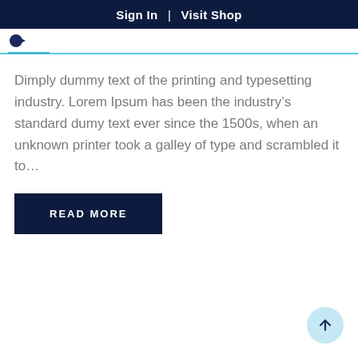Sign In  |  Visit Shop
Dimply dummy text of the printing and typesetting industry. Lorem Ipsum has been the industry’s standard dumy text ever since the 1500s, when an unknown printer took a galley of type and scrambled it to...
READ MORE